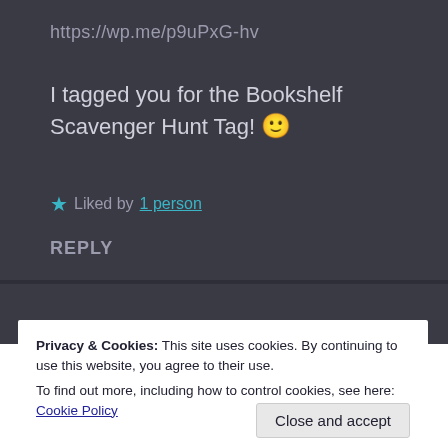https://wp.me/p9uPxG-hv
I tagged you for the Bookshelf Scavenger Hunt Tag! 🙂
★ Liked by 1 person
REPLY
Privacy & Cookies: This site uses cookies. By continuing to use this website, you agree to their use. To find out more, including how to control cookies, see here: Cookie Policy
Close and accept